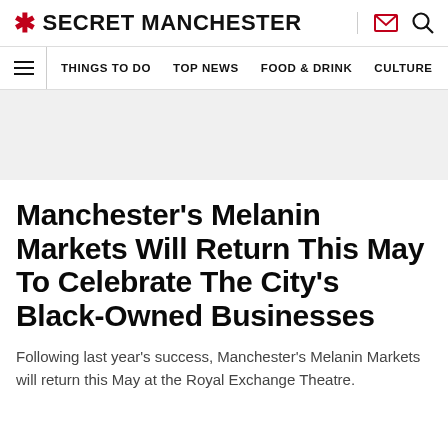* SECRET MANCHESTER
THINGS TO DO  TOP NEWS  FOOD & DRINK  CULTURE
Manchester’s Melanin Markets Will Return This May To Celebrate The City’s Black-Owned Businesses
Following last year's success, Manchester's Melanin Markets will return this May at the Royal Exchange Theatre.